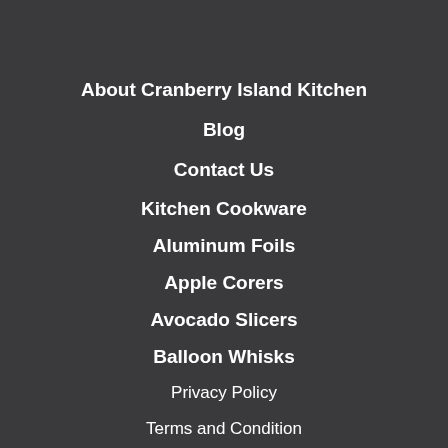About Cranberry Island Kitchen
Blog
Contact Us
Kitchen Cookware
Aluminum Foils
Apple Corers
Avocado Slicers
Balloon Whisks
Privacy Policy
Terms and Condition
RSS Feed